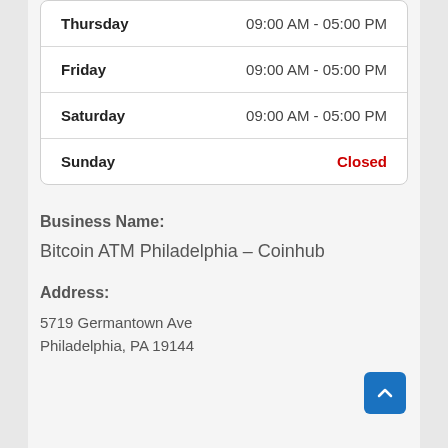| Day | Hours |
| --- | --- |
| Thursday | 09:00 AM - 05:00 PM |
| Friday | 09:00 AM - 05:00 PM |
| Saturday | 09:00 AM - 05:00 PM |
| Sunday | Closed |
Business Name:
Bitcoin ATM Philadelphia – Coinhub
Address:
5719 Germantown Ave
Philadelphia, PA 19144